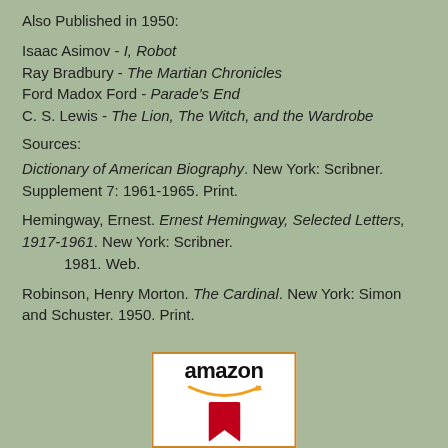Also Published in 1950:
Isaac Asimov - I, Robot
Ray Bradbury - The Martian Chronicles
Ford Madox Ford - Parade's End
C. S. Lewis - The Lion, The Witch, and the Wardrobe
Sources:
Dictionary of American Biography. New York: Scribner. Supplement 7: 1961-1965. Print.
Hemingway, Ernest. Ernest Hemingway, Selected Letters, 1917-1961. New York: Scribner. 1981. Web.
Robinson, Henry Morton. The Cardinal. New York: Simon and Schuster. 1950. Print.
[Figure (logo): Amazon logo with orange smile arrow and red bookmark icon on white background with orange border]